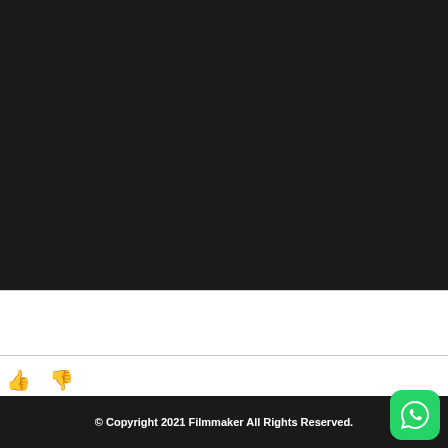[Figure (screenshot): Large black/dark area representing a video player or dark screen content]
[Figure (illustration): Thumbs up and thumbs down icons for like/dislike interaction]
© Copyright 2021 Filmmaker All Rights Reserved.
[Figure (logo): WhatsApp green circular logo button in bottom right corner]